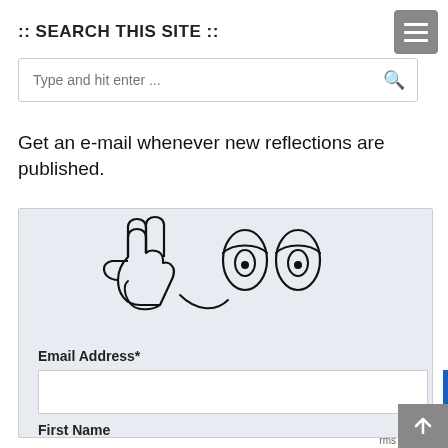:: SEARCH THIS SITE ::
Type and hit enter ...
Get an e-mail whenever new reflections are published.
[Figure (illustration): Cartoon doodle of a hand giving a peace sign and a pair of cartoon eyes]
Email Address*
First Name